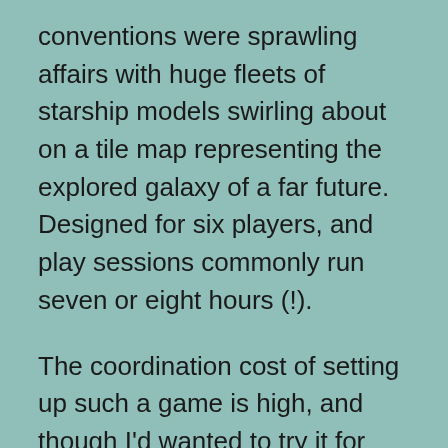conventions were sprawling affairs with huge fleets of starship models swirling about on a tile map representing the explored galaxy of a far future. Designed for six players, and play sessions commonly run seven or eight hours (!).
The coordination cost of setting up such a game is high, and though I'd wanted to try it for years I was never present at exactly the right time. Until this last weekend, when a bunch of the harder-core types from my Friday night gaming group got it together to play a game Saturday. It was quite an experience